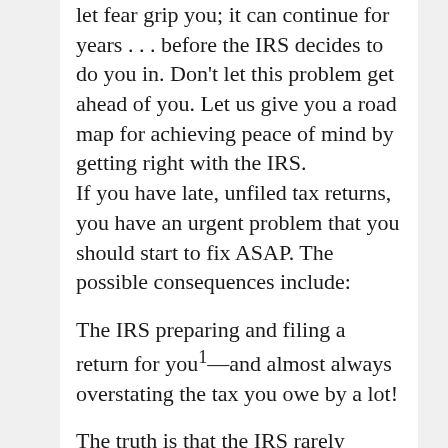let fear grip you; it can continue for years . . . before the IRS decides to do you in. Don't let this problem get ahead of you. Let us give you a road map for achieving peace of mind by getting right with the IRS.
If you have late, unfiled tax returns, you have an urgent problem that you should start to fix ASAP. The possible consequences include:
The IRS preparing and filing a return for you1—and almost always overstating the tax you owe by a lot!
The truth is that the IRS rarely criminally prosecutes people for not filing tax returns, but this can and does happen, especially in